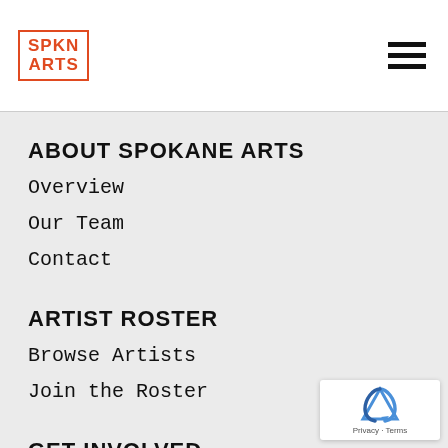SPKN ARTS
ABOUT SPOKANE ARTS
Overview
Our Team
Contact
ARTIST ROSTER
Browse Artists
Join the Roster
GET INVOLVED
Volunteer